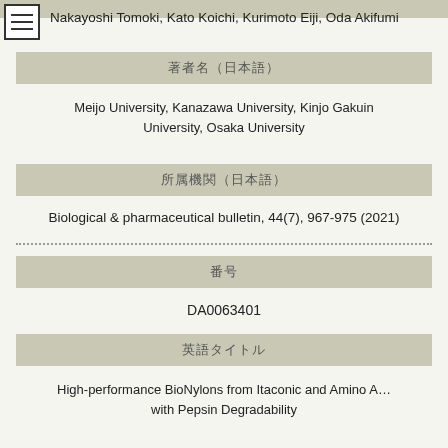Nakayoshi Tomoki, Kato Koichi, Kurimoto Eiji, Oda Akifumi
著者名（日本語）
Meijo University, Kanazawa University, Kinjo Gakuin University, Osaka University
所属機関（日本語）
Biological & pharmaceutical bulletin, 44(7), 967-975 (2021)
番号
DA0063401
英語タイトル
High-performance BioNylons from Itaconic and Amino Acids with Pepsin Degradability